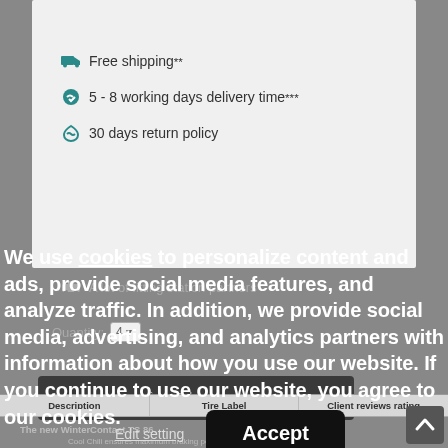🚚 Free shipping**
👍 5 - 8 working days delivery time***
↺ 30 days return policy
🚗 A lot of fitting station partners
Quantity: 4
Add to cart
| Description | Tire Label | Client reviews rating |
| --- | --- | --- |
The new WinterContact TS 86...
Cool Chili ensures maximum braking performance in any...
We use cookies to personalize content and ads, provide social media features, and analyze traffic. In addition, we provide social media, advertising, and analytics partners with information about how you use our website. If you continue to use our website, you agree to our cookies.
Edit setting
Accept